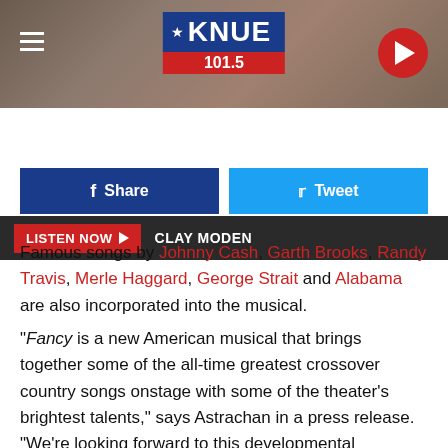[Figure (screenshot): KNUE 101.5 radio station header banner with logo, hamburger menu, and play button on a dark textured background]
LISTEN NOW  CLAY MODEN
Share   Tweet
Famous songs by Johnny Cash, Garth Brooks, Randy Travis, Merle Haggard, George Strait and Alabama are also incorporated into the musical.
"Fancy is a new American musical that brings together some of the all-time greatest crossover country songs onstage with some of the theater's brightest talents," says Astrachan in a press release. "We're looking forward to this developmental presentation and hope it will inspire producing partners to join us as we look to a production at a major regional theater or on a project in New York."